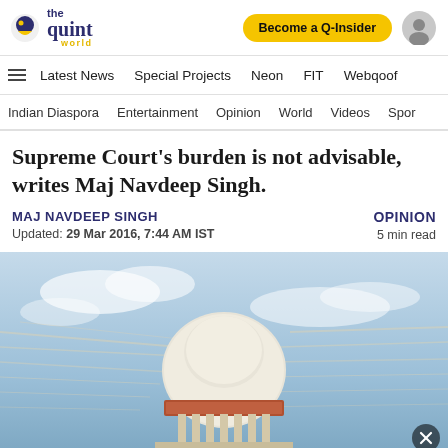the quint world | Become a Q-Insider
Latest News | Special Projects | Neon | FIT | Webqoof
Indian Diaspora | Entertainment | Opinion | World | Videos | Spor
Supreme Court's burden is not advisable, writes Maj Navdeep Singh.
MAJ NAVDEEP SINGH
Updated: 29 Mar 2016, 7:44 AM IST
OPINION
5 min read
[Figure (photo): Photo of the Supreme Court of India dome with dramatic sky and paper/document blur effect in the background]